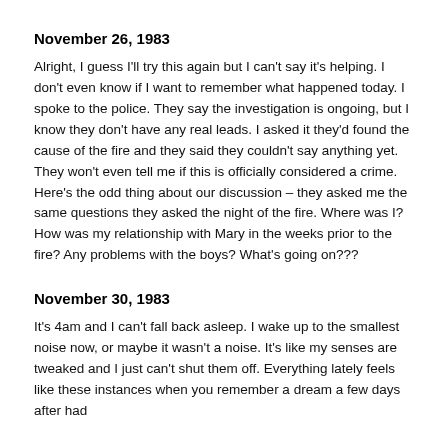November 26, 1983
Alright, I guess I'll try this again but I can't say it's helping. I don't even know if I want to remember what happened today. I spoke to the police. They say the investigation is ongoing, but I know they don't have any real leads. I asked it they'd found the cause of the fire and they said they couldn't say anything yet. They won't even tell me if this is officially considered a crime. Here's the odd thing about our discussion – they asked me the same questions they asked the night of the fire. Where was I? How was my relationship with Mary in the weeks prior to the fire? Any problems with the boys? What's going on???
November 30, 1983
It's 4am and I can't fall back asleep. I wake up to the smallest noise now, or maybe it wasn't a noise. It's like my senses are tweaked and I just can't shut them off. Everything lately feels like these instances when you remember a dream a few days after had